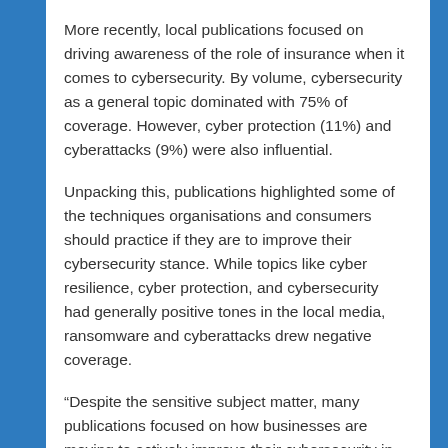More recently, local publications focused on driving awareness of the role of insurance when it comes to cybersecurity. By volume, cybersecurity as a general topic dominated with 75% of coverage. However, cyber protection (11%) and cyberattacks (9%) were also influential.
Unpacking this, publications highlighted some of the techniques organisations and consumers should practice if they are to improve their cybersecurity stance. While topics like cyber resilience, cyber protection, and cybersecurity had generally positive tones in the local media, ransomware and cyberattacks drew negative coverage.
“Despite the sensitive subject matter, many publications focused on how businesses are moving to actively improve their cybersecurity in South Africa. Tips and tricks, and other recommendations